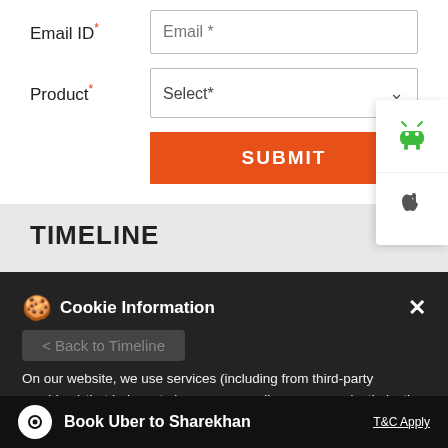Email ID*
Email *
Product*
Select*
SUBMIT
[Figure (logo): Android app icon - green Android robot logo on white background]
[Figure (logo): Apple app icon - Apple logo on white background]
TIMELINE
Cookie Information
< Back to Timeline
On our website, we use services (including from third-party providers) that help us to improve our online presence (optimization of website) and to display content that is geared to their interests. We need your consent before being able to use these services.
#Granules (12month PT Rs290) #Q4FY22 was a weak qtr; cost headwinds &amp; uncertain
Book Uber to Sharekhan
T&C Apply